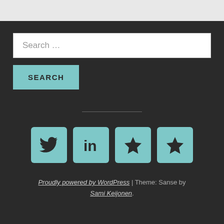[Figure (screenshot): Search box with placeholder text 'Search ...']
[Figure (screenshot): Search button with teal background and 'SEARCH' label]
[Figure (infographic): Four teal social media icon boxes: Twitter bird, LinkedIn 'in', and two star icons]
Proudly powered by WordPress | Theme: Sanse by Sami Keijonen.